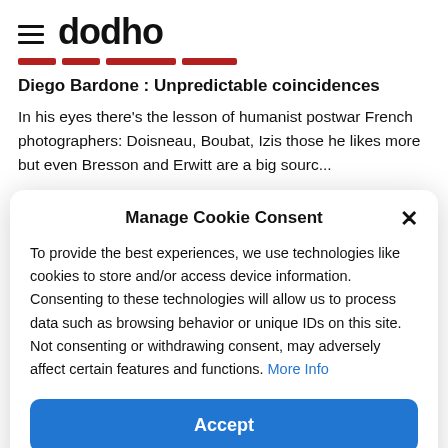dodho
Diego Bardone : Unpredictable coincidences
In his eyes there's the lesson of humanist postwar French photographers: Doisneau, Boubat, Izis those he likes more but even Bresson and Erwitt are a big sourc...
Manage Cookie Consent
To provide the best experiences, we use technologies like cookies to store and/or access device information. Consenting to these technologies will allow us to process data such as browsing behavior or unique IDs on this site. Not consenting or withdrawing consent, may adversely affect certain features and functions. More Info
Accept